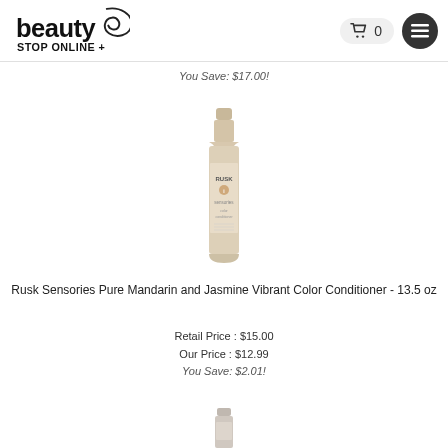[Figure (logo): Beauty Stop Online logo with stylized text and swirl graphic]
You Save: $17.00!
[Figure (photo): Rusk Sensories Pure Mandarin and Jasmine Vibrant Color Conditioner bottle, 13.5 oz, beige/cream colored bottle]
Rusk Sensories Pure Mandarin and Jasmine Vibrant Color Conditioner - 13.5 oz
Retail Price : $15.00
Our Price : $12.99
You Save: $2.01!
[Figure (photo): Partial view of another product bottle at bottom of page]